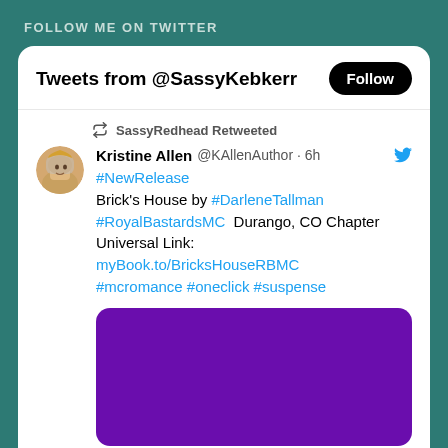FOLLOW ME ON TWITTER
Tweets from @SassyKebkerr
SassyRedhead Retweeted
Kristine Allen @KAllenAuthor · 6h
#NewRelease
Brick's House by #DarleneTallman #RoyalBastardsMC  Durango, CO Chapter Universal Link: myBook.to/BricksHouseRBMC #mcromance #oneclick #suspense
[Figure (illustration): Purple/violet solid color rectangle representing a book cover image in tweet]